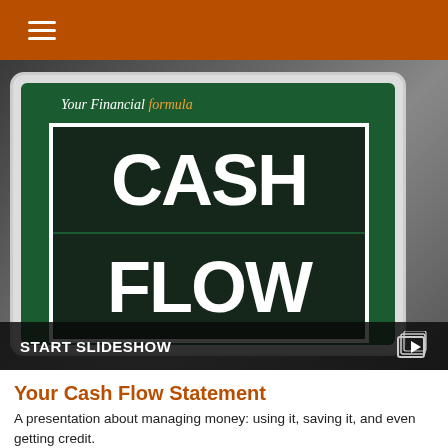[Figure (photo): A tablet device displaying a financial dashboard with green screen and a large CASH FLOW text overlay in white on dark bands, with 'Your Financial formula' visible on the tablet screen. Below the hero image is a 'START SLIDESHOW' bar with a play icon.]
Your Cash Flow Statement
A presentation about managing money: using it, saving it, and even getting credit.